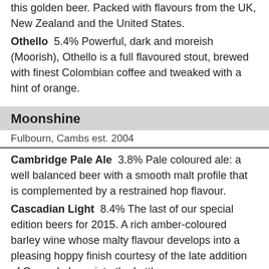this golden beer. Packed with flavours from the UK, New Zealand and the United States.
Othello  5.4% Powerful, dark and moreish (Moorish), Othello is a full flavoured stout, brewed with finest Colombian coffee and tweaked with a hint of orange.
Moonshine
Fulbourn, Cambs est. 2004
Cambridge Pale Ale  3.8% Pale coloured ale: a well balanced beer with a smooth malt profile that is complemented by a restrained hop flavour.
Cascadian Light  8.4% The last of our special edition beers for 2015. A rich amber-coloured barley wine whose malty flavour develops into a pleasing hoppy finish courtesy of the late addition of Cascade hops into the kettle.
Heavenly Matter  4.1% A crisp, clean, straw coloured light bodied beer. Citra hops are prominent throughout, with a huge hoppy citrus, tropical fruit ...